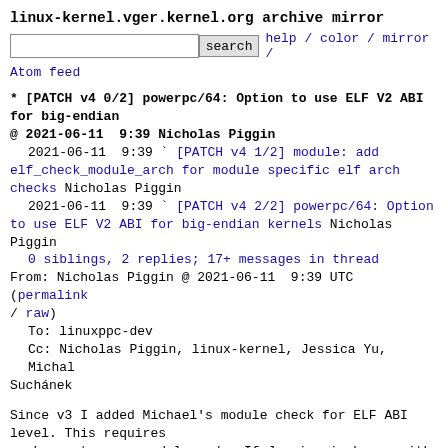linux-kernel.vger.kernel.org archive mirror
search  help / color / mirror / Atom feed
* [PATCH v4 0/2] powerpc/64: Option to use ELF V2 ABI for big-endian
@ 2021-06-11  9:39 Nicholas Piggin
  2021-06-11  9:39 ` [PATCH v4 1/2] module: add elf_check_module_arch for module specific elf arch checks Nicholas Piggin
  2021-06-11  9:39 ` [PATCH v4 2/2] powerpc/64: Option to use ELF V2 ABI for big-endian kernels Nicholas Piggin
  0 siblings, 2 replies; 17+ messages in thread
From: Nicholas Piggin @ 2021-06-11  9:39 UTC (permalink / raw)
  To: linuxppc-dev
  Cc: Nicholas Piggin, linux-kernel, Jessica Yu, Michal Suchánek
Since v3 I added Michael's module check for ELF ABI
level. This requires
a change to core module code. If Jessica is happy with
it it could go
via the powerpc tree.

Thanks,
Nick